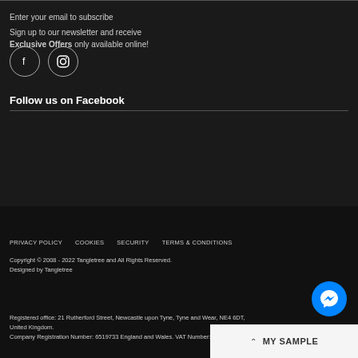Enter your email to subscribe
Sign up to our newsletter and receive Exclusive Offers only available online!
[Figure (illustration): Two circular social media icons: Facebook (f) and Instagram (camera icon)]
Follow us on Facebook
PRIVACY POLICY   COOKIES   SECURITY   TERMS & CONDITIONS
Copyright © 2008 - 2022 Tangletree and All Rights Reserved.
Designed by Tangletree
Registered office: 21 Rutherford Street, Newcastle upon Tyne, Tyne and Wear, NE4 6DT, United Kingdom.
Company Registration Number: 6519733 England and Wales. VAT Number: 944 9080 94.
[Figure (illustration): Blue circular Facebook Messenger button icon]
MY SAMPLE